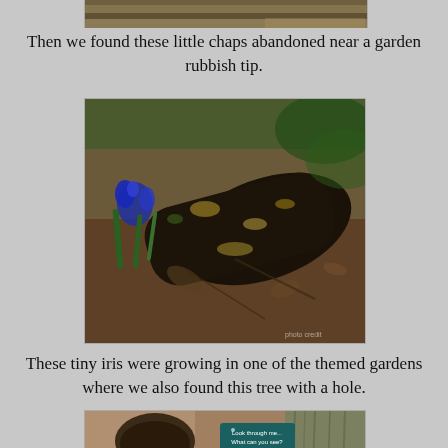[Figure (photo): Partial view of a garden/nature photo at the top of the page, showing earthy/woody tones]
Then we found these little chaps abandoned near a garden rubbish tip.
[Figure (photo): A decaying tree log with blue iris flowers growing beside it in a garden setting]
These tiny iris were growing in one of the themed gardens where we also found this tree with a hole.
[Figure (photo): A tree with a hole and a sign reading 'Look through me... What can you see?']